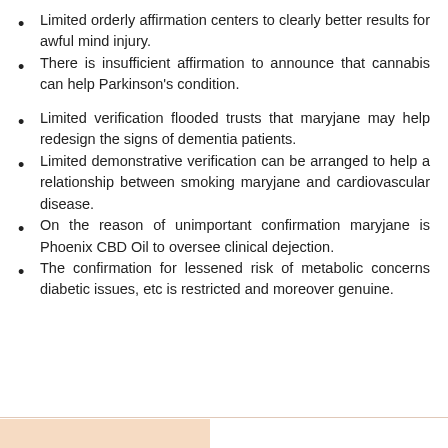Limited orderly affirmation centers to clearly better results for awful mind injury.
There is insufficient affirmation to announce that cannabis can help Parkinson's condition.
Limited verification flooded trusts that maryjane may help redesign the signs of dementia patients.
Limited demonstrative verification can be arranged to help a relationship between smoking maryjane and cardiovascular disease.
On the reason of unimportant confirmation maryjane is Phoenix CBD Oil to oversee clinical dejection.
The confirmation for lessened risk of metabolic concerns diabetic issues, etc is restricted and moreover genuine.